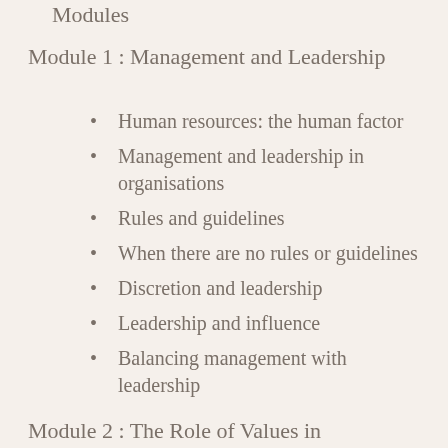Modules
Module 1 : Management and Leadership
Human resources: the human factor
Management and leadership in organisations
Rules and guidelines
When there are no rules or guidelines
Discretion and leadership
Leadership and influence
Balancing management with leadership
Module 2 : The Role of Values in